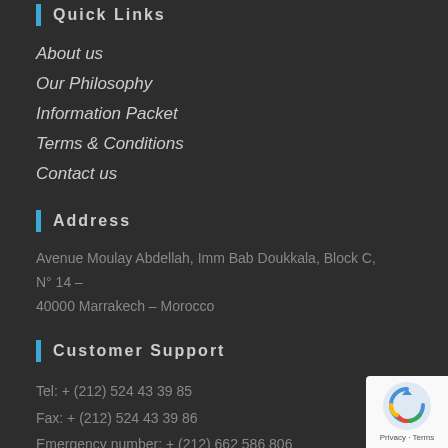Quick Links
About us
Our Philosophy
Information Packet
Terms & Conditions
Contact us
Address
Avenue Moulay Abdellah, Imm Bab Doukkala, Block C, N° 14 –
40000 Marrakech – Morocco
Customer Support
Tel: + (212) 524 43 39 85
Fax: + (212) 524 43 39 86
Emergency number: + (212) 662 586 806